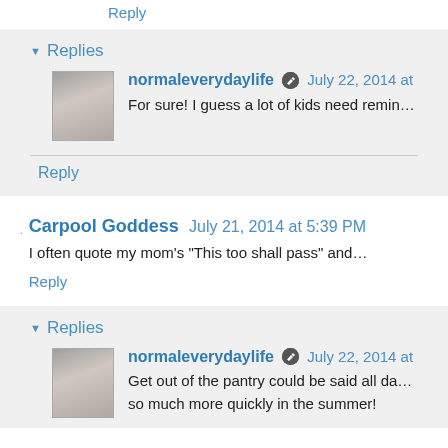Reply
▾ Replies
normaleverydaylife 🖊 July 22, 2014 at
For sure! I guess a lot of kids need remin…
Reply
Carpool Goddess  July 21, 2014 at 5:39 PM
I often quote my mom's "This too shall pass" and…
Reply
▾ Replies
normaleverydaylife 🖊 July 22, 2014 at
Get out of the pantry could be said all day… so much more quickly in the summer!